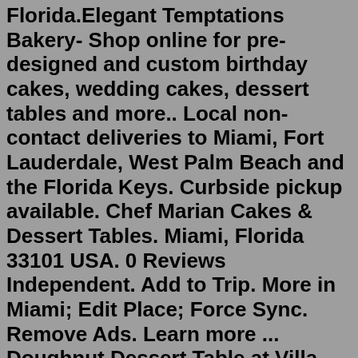Florida.Elegant Temptations Bakery- Shop online for pre-designed and custom birthday cakes, wedding cakes, dessert tables and more.. Local non-contact deliveries to Miami, Fort Lauderdale, West Palm Beach and the Florida Keys. Curbside pickup available. Chef Marian Cakes & Dessert Tables. Miami, Florida 33101 USA. 0 Reviews Independent. Add to Trip. More in Miami; Edit Place; Force Sync. Remove Ads. Learn more ... Doughnut Dessert Table at Villa Woodbine in Miami, Florida. From. "Star Wars" Inspired This Classic Wedding at Villa Woodbine in Miami, Florida.Apr 21, 2018 - Miami Dessert Tables - Elegant Temptations Bakery is a custom cake studio specializing in creating Elegant Cakes and Modern Dessert Tables. When it comes to choosing the food at your wedding, the dessert table display ideas are truly endless! Contents show 1 Cupcakes 2 Cookie wall 3 Chocolate dipped strawberries 4 Donut wall 5 Macarons 6 Cinnamon rolls 7 Churros 8 S’mores on a stick 9 Cake pops 10 Tarts 11 Cannoli tower 12 No bake … 20 Wedding